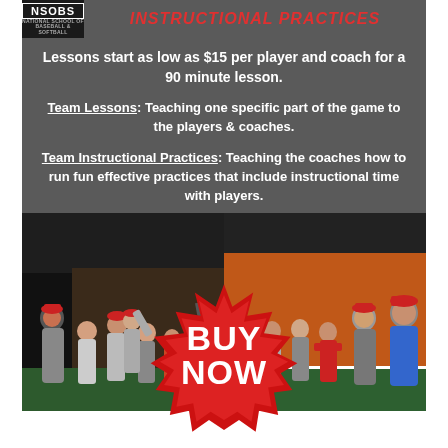[Figure (infographic): NSOBS logo in black box alongside red italic header text reading INSTRUCTIONAL PRACTICES]
Lessons start as low as $15 per player and coach for a 90 minute lesson.
Team Lessons: Teaching one specific part of the game to the players & coaches.
Team Instructional Practices: Teaching the coaches how to run fun effective practices that include instructional time with players.
[Figure (photo): Two side-by-side indoor baseball/softball practice photos showing coaches and youth players in a training facility]
[Figure (infographic): Red starburst badge with white bold text reading BUY NOW]